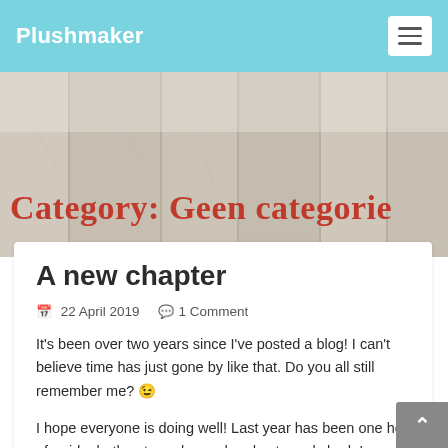Plushmaker
Category: Geen categorie
A new chapter
22 April 2019  1 Comment
It's been over two years since I've posted a blog! I can't believe time has just gone by like that. Do you all still remember me? 😉
I hope everyone is doing well! Last year has been one hell of a ride, both extremely good and extremely bad. I worked full time and I travelled a lot for personal